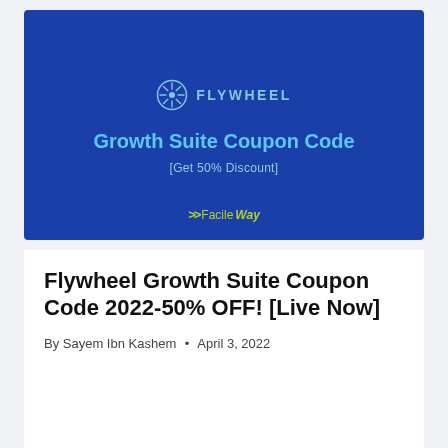[Figure (illustration): Blue banner image for Flywheel Growth Suite Coupon Code promotion. Features the Flywheel logo (wheel icon + FLYWHEEL text), large text reading 'Growth Suite Coupon Code', subtitle '[Get 50% Discount]', and FacileWay branding at the bottom.]
Flywheel Growth Suite Coupon Code 2022-50% OFF! [Live Now]
By Sayem Ibn Kashem • April 3, 2022